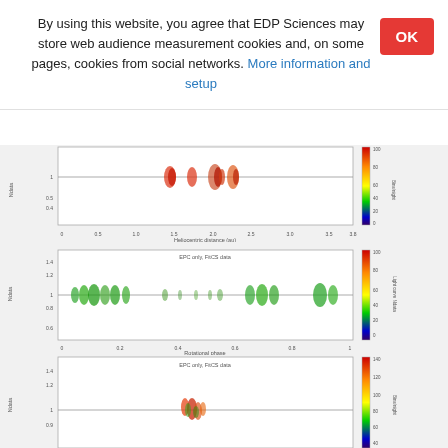By using this website, you agree that EDP Sciences may store web audience measurement cookies and, on some pages, cookies from social networks. More information and setup
[Figure (continuous-plot): Scatter plot showing data points (red/orange clusters) along a horizontal line at Ndata=1, with x-axis labeled 'Heliocentric distance (au)' ranging from 0 to 3.6, y-axis labeled 'Ndata', and a color bar on the right (purple to red, 0-100) labeled 'Bins/night']
[Figure (continuous-plot): Scatter plot titled 'EPC only, FitCS data' showing green data point clusters along horizontal line at Ndata=1, x-axis labeled 'Rotational phase' ranging from 0 to 1, y-axis labeled 'Ndata', color bar on right (purple to red) labeled 'Light curve Ndata']
[Figure (continuous-plot): Scatter plot titled 'EPC only, FitCS data' showing red/orange/green data point cluster near center at Ndata=1, partial view, color bar on right labeled 'Bins/night']